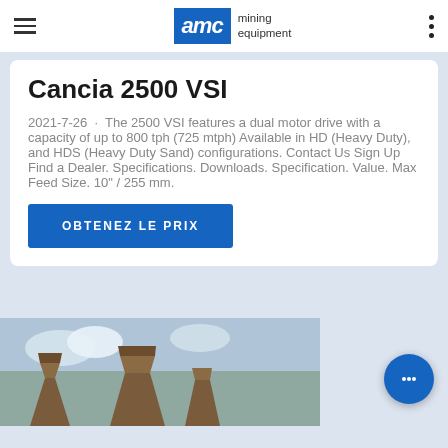AMC mining equipment
Cancia 2500 VSI
2021-7-26 · The 2500 VSI features a dual motor drive with a capacity of up to 800 tph (725 mtph) Available in HD (Heavy Duty), and HDS (Heavy Duty Sand) configurations. Contact Us Sign Up Find a Dealer. Specifications. Downloads. Specification. Value. Max Feed Size. 10" / 255 mm.
OBTENEZ LE PRIX
[Figure (photo): Photograph of mining equipment / crusher machinery outdoors against sky]